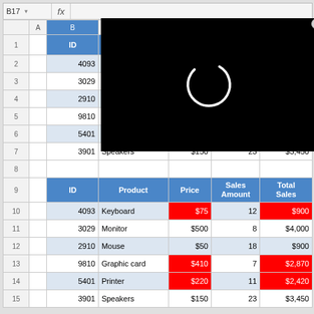[Figure (screenshot): Spreadsheet with formula bar showing B17, columns A-F, two tables. Top table rows 1-7: headers ID, Product, Pr[ice], [Sales Amount], [Total Sales] in blue. Data rows: 4093 Keyboard, 3029 Monitor, 2910 Mouse $50 18 $900, 9810 Graphic card $350 7 $2450, 5401 Printer $200 11 $2200, 3901 Speakers $150 23 $3450. Row 8 empty. Bottom table rows 9-15: headers ID Product Price Sales Amount Total Sales. Data: 4093 Keyboard $75(red) 12 $900(red); 3029 Monitor $500 8 $4000; 2910 Mouse $50 18 $900; 9810 Graphic card $410(red) 7 $2870(red); 5401 Printer $220(red) 11 $2420(red); 3901 Speakers $150 23 $3450. Black loading overlay covers columns D-F of rows 1-7.]